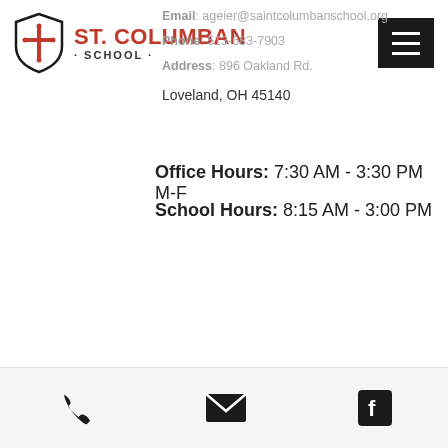[Figure (logo): St. Columban School shield logo with cross and school name]
Email: ageier@saintcolumbanschool.org
Phone: 513-683-7903
Address: 896 Oakland Rd.
Loveland, OH 45140
Office Hours: 7:30 AM - 3:30 PM  M-F
School Hours: 8:15 AM - 3:00 PM
[Figure (infographic): Footer with phone, email, and Facebook icons]